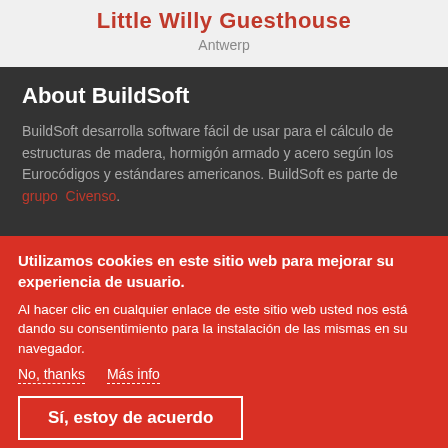Little Willy Guesthouse
Antwerp
About BuildSoft
BuildSoft desarrolla software fácil de usar para el cálculo de estructuras de madera, hormigón armado y acero según los Eurocódigos y estándares americanos. BuildSoft es parte de grupo Civenso.
Utilizamos cookies en este sitio web para mejorar su experiencia de usuario.
Al hacer clic en cualquier enlace de este sitio web usted nos está dando su consentimiento para la instalación de las mismas en su navegador.
No, thanks   Más info
Sí, estoy de acuerdo